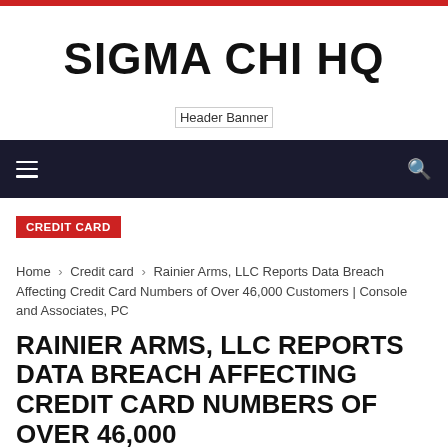SIGMA CHI HQ
[Figure (other): Header Banner image placeholder]
CREDIT CARD
Home › Credit card › Rainier Arms, LLC Reports Data Breach Affecting Credit Card Numbers of Over 46,000 Customers | Console and Associates, PC
RAINIER ARMS, LLC REPORTS DATA BREACH AFFECTING CREDIT CARD NUMBERS OF OVER 46,000